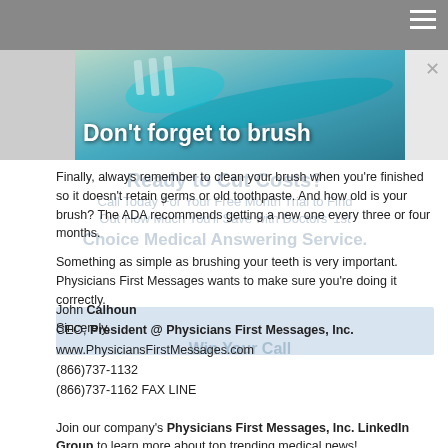[Figure (photo): Toothbrush hero image with text overlay 'Don't forget to brush']
Finally, always remember to clean your brush when you're finished so it doesn't retain germs or old toothpaste. And how old is your brush? The ADA recommends getting a new one every three or four months.
Something as simple as brushing your teeth is very important. Physicians First Messages wants to make sure you're doing it correctly.
Sincerely,
John Calhoun
CEO, President @ Physicians First Messages, Inc.
www.PhysiciansFirstMessages.com
(866)737-1132
(866)737-1162 FAX LINE
Join our company's Physicians First Messages, Inc. LinkedIn Group to learn more about top trending medical news!